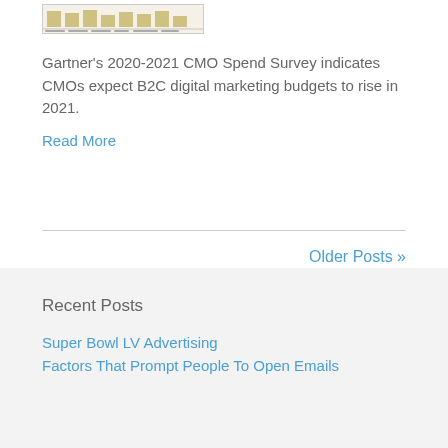[Figure (screenshot): Small thumbnail image of a bar chart related to CMO Spend Survey data]
Gartner's 2020-2021 CMO Spend Survey indicates CMOs expect B2C digital marketing budgets to rise in 2021.
Read More
Older Posts »
Recent Posts
Super Bowl LV Advertising
Factors That Prompt People To Open Emails